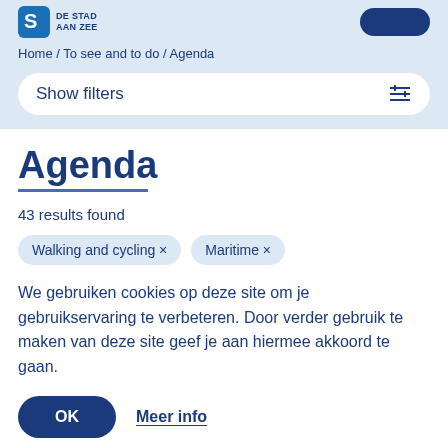DE STAD AAN ZEE
Home / To see and to do / Agenda
Show filters
Agenda
43 results found
Walking and cycling ×   Maritime ×
We gebruiken cookies op deze site om je gebruikservaring te verbeteren. Door verder gebruik te maken van deze site geef je aan hiermee akkoord te gaan.
OK
Meer info